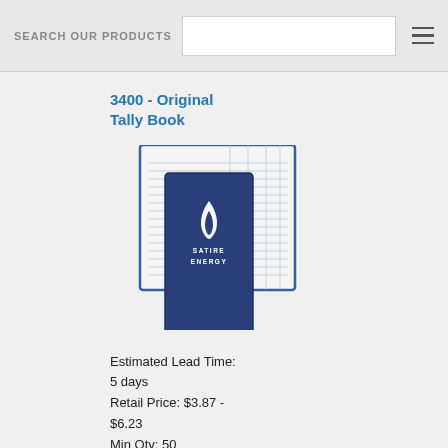SEARCH OUR PRODUCTS
3400 - Original Tally Book
[Figure (photo): Product photo of an Original Tally Book showing a ruled ledger pad and a navy blue branded tally book cover with Satire Energy logo (flame icon) and text 'SATIRE ENERGY'.]
Estimated Lead Time: 5 days
Retail Price: $3.87 - $6.23
Min Qty: 50
DETAILS